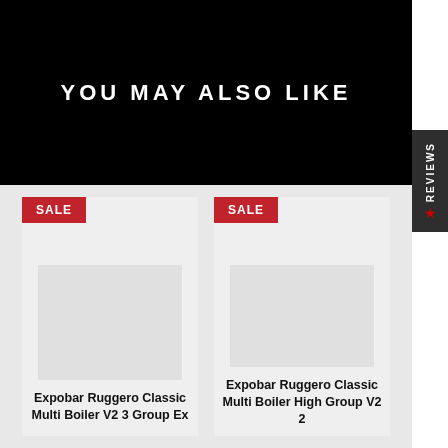YOU MAY ALSO LIKE
★ REVIEWS
[Figure (photo): Product card with SALE badge and placeholder image for Expobar Ruggero Classic Multi Boiler V2 3 Group Ex]
Expobar Ruggero Classic Multi Boiler V2 3 Group Ex
[Figure (photo): Product card with SALE badge and placeholder image for Expobar Ruggero Classic Multi Boiler High Group V2 2]
Expobar Ruggero Classic Multi Boiler High Group V2 2